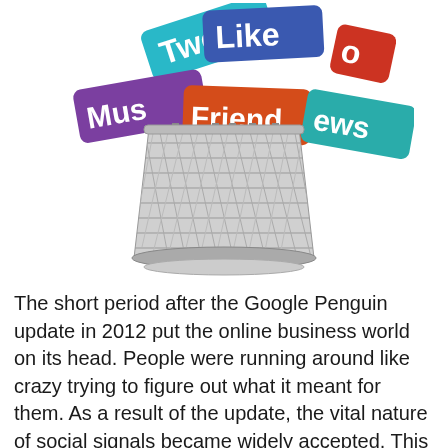[Figure (illustration): A metal wire mesh trash can / pencil holder with colorful social media signs sticking out of it. Signs include: 'Tweet' (teal/cyan), 'Like' (blue), 'Music' (purple, partially visible as 'Mus'), 'Friend' (orange/red), 'News' (teal, partially visible as 'ews'), and another partially visible sign (red, showing 'o').]
The short period after the Google Penguin update in 2012 put the online business world on its head. People were running around like crazy trying to figure out what it meant for them. As a result of the update, the vital nature of social signals became widely accepted. This is mostly about SEO